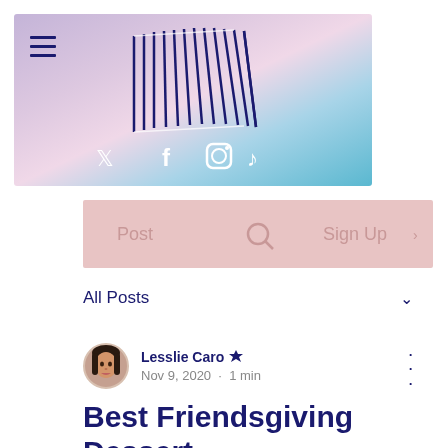[Figure (screenshot): Website header banner with gradient background (pink-purple to teal-blue), a 3D wireframe box logo in dark blue in the center, a hamburger menu icon in the top left, and social media icons (Twitter, Facebook, Instagram, TikTok) in white at the bottom.]
[Figure (screenshot): Pink navigation bar with 'Post' text on the left, a search icon in the middle, and 'Sign Up' text on the right, all in muted pink/rose color.]
All Posts ∨
Lesslie Caro 👑 Nov 9, 2020 · 1 min
Best Friendsgiving Dessert